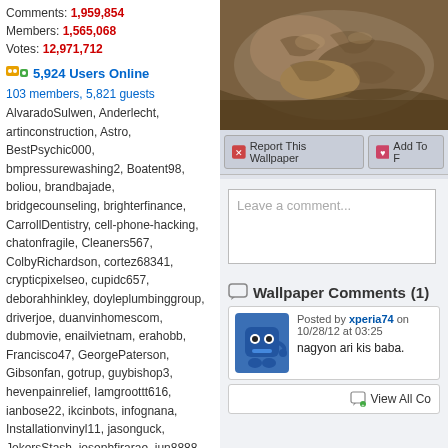Comments: 1,959,854
Members: 1,565,068
Votes: 12,971,712
5,924 Users Online
103 members, 5,821 guests
AlvaradoSulwen, Anderlecht, artinconstruction, Astro, BestPsychic000, bmpressurewashing2, Boatent98, boliou, brandbajade, bridgecounseling, brighterfinance, CarrollDentistry, cell-phone-hacking, chatonfragile, Cleaners567, ColbyRichardson, cortez68341, crypticpixelseo, cupidc657, deborahhinkley, doyleplumbinggroup, driverjoe, duanvinhomescom, dubmovie, enailvietnam, erahobb, Francisco47, GeorgePaterson, Gibsonfan, gotrup, guybishop3, hevenpainrelief, Iamgroottt616, ianbose22, ikcinbots, infognana, Installationvinyl11, jasonguck, JokersStash, josephfirarae, jun8888, KayaXu8, khungnhomkinhvietphon..., kinggohan, Lalina, Lamamake, leonbetappin, lertuiosq, lilla811, lirikmerch, maayash, macthanhvu, marquisbarkley, mayapatil281995, McKinneysTX, mikepaxson, missshweta, mistydaydream1, mod.CG, modzoro, mumtazdental, now888today, phaosis777
[Figure (photo): Close-up photo of an animal, appears to be a turtle or similar reptile with brown/tan rough textured skin]
Report This Wallpaper
Add To F
Leave a comment...
Wallpaper Comments (1)
Posted by xperia74 on 10/28/12 at 03:25
nagyon ari kis baba.
View All Co